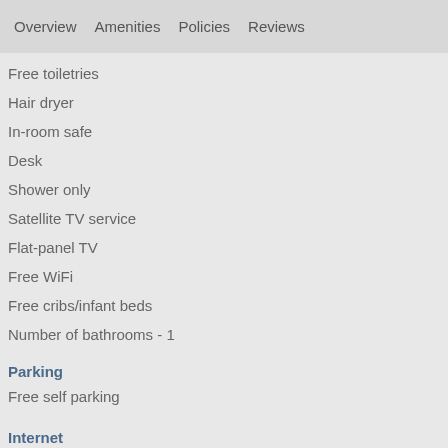Overview   Amenities   Policies   Reviews
Free toiletries
Hair dryer
In-room safe
Desk
Shower only
Satellite TV service
Flat-panel TV
Free WiFi
Free cribs/infant beds
Number of bathrooms - 1
Parking
Free self parking
Internet
Available in all rooms: Free WiFi
Available in some public areas: Free WiFi